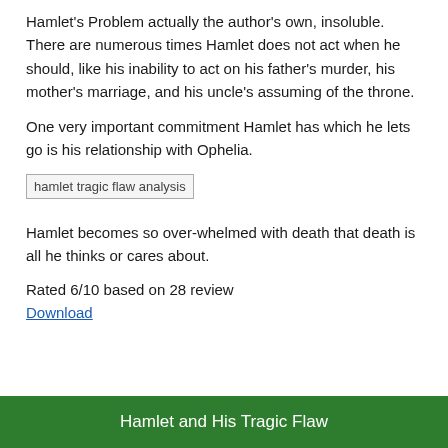Hamlet's Problem actually the author's own, insoluble. There are numerous times Hamlet does not act when he should, like his inability to act on his father's murder, his mother's marriage, and his uncle's assuming of the throne.
One very important commitment Hamlet has which he lets go is his relationship with Ophelia.
[Figure (illustration): Placeholder image labeled 'hamlet tragic flaw analysis']
Hamlet becomes so over-whelmed with death that death is all he thinks or cares about.
Rated 6/10 based on 28 review
Download
Hamlet and His Tragic Flaw